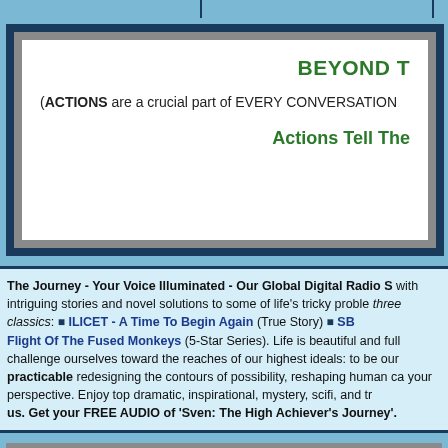BEYOND T
(ACTIONS are a crucial part of EVERY CONVERSATION
Actions Tell The
The Journey - Your Voice Illuminated - Our Global Digital Radio S with intriguing stories and novel solutions to some of life's tricky problems. three classics: ■ ILICET - A Time To Begin Again (True Story) ■ SB Flight Of The Fused Monkeys (5-Star Series). Life is beautiful and full challenge ourselves toward the reaches of our highest ideals: to be our practicable redesigning the contours of possibility, reshaping human ca your perspective. Enjoy top dramatic, inspirational, mystery, scifi, and tr us. Get your FREE AUDIO of 'Sven: The High Achiever's Journey'.